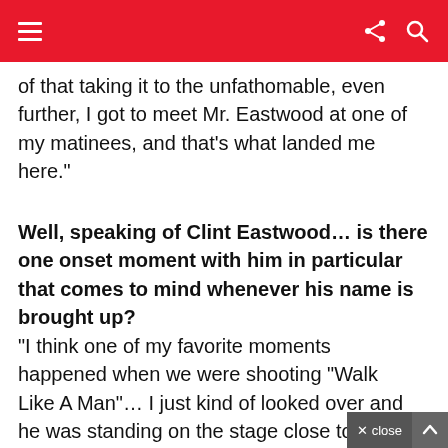[hamburger menu] [share icon] [search icon]
of that taking it to the unfathomable, even further, I got to meet Mr. Eastwood at one of my matinees, and that’s what landed me here.”
Well, speaking of Clint Eastwood… is there one onset moment with him in particular that comes to mind whenever his name is brought up?
“I think one of my favorite moments happened when we were shooting “Walk Like A Man”…  I just kind of looked over and he was standing on the stage close to the wings, for his own good, trying to learn how to sing like Frankie Valley – how to hit those high notes. Just watching him like a kid trying to iron out the